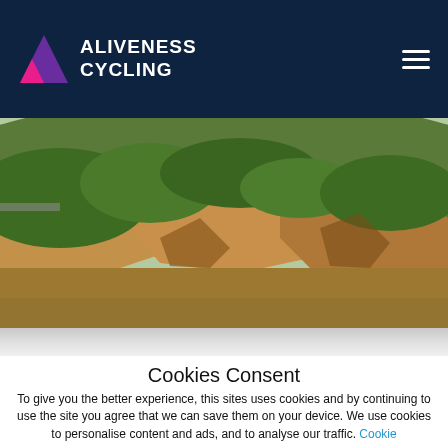ALIVENESS CYCLING
[Figure (photo): Outdoor hillside landscape with rocky terrain and green trees/shrubs under bright sunlight.]
Cookies Consent
To give you the better experience, this sites uses cookies and by continuing to use the site you agree that we can save them on your device. We use cookies to personalise content and ads, and to analyse our traffic. Cookie settings
ACCEPT